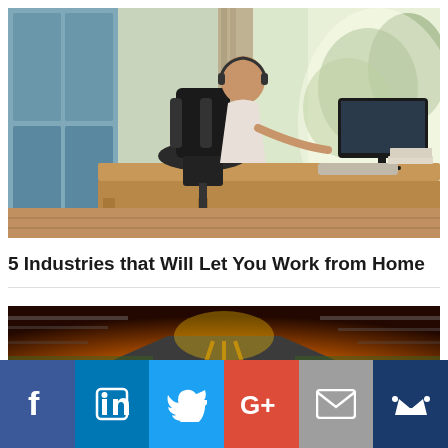[Figure (photo): Woman wearing headphones sitting at a desk with a computer monitor in a modern home office with blue cabinets and a large window with trees outside]
5 Industries that Will Let You Work from Home
[Figure (photo): Blurred road with bright orange sunset light and '2021' text on the road surface]
[Figure (infographic): Social media share bar with icons for Facebook, LinkedIn, Twitter, Google+, Email, and a crown/bookmark icon]